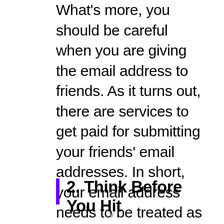What's more, you should be careful when you are giving the email address to friends. As it turns out, there are services to get paid for submitting your friends' email addresses. In short, your email address needs to be treated as something close to confidential.
2. Think Before You Hit
v